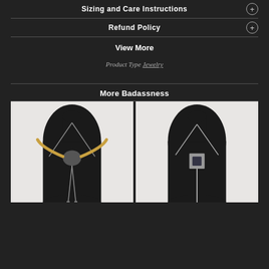Sizing and Care Instructions
Refund Policy
View More
Product Type Jewelry
More Badassness
[Figure (photo): Two bolo tie necklaces displayed on black jewelry busts against a white background. Left: bull skull with golden horns. Right: square silver pendant with dark stone.]